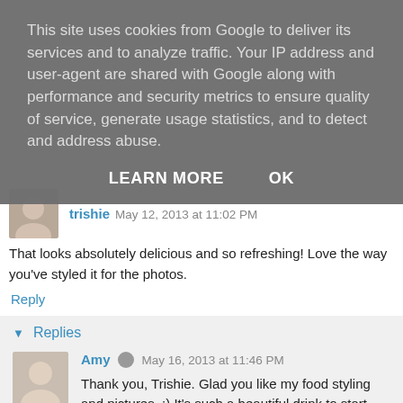This site uses cookies from Google to deliver its services and to analyze traffic. Your IP address and user-agent are shared with Google along with performance and security metrics to ensure quality of service, generate usage statistics, and to detect and address abuse.
LEARN MORE   OK
trishie May 12, 2013 at 11:02 PM
That looks absolutely delicious and so refreshing! Love the way you've styled it for the photos.
Reply
▾ Replies
Amy  May 16, 2013 at 11:46 PM
Thank you, Trishie. Glad you like my food styling and pictures. ;) It's such a beautiful drink to start with so it was an easy one for me.
Reply